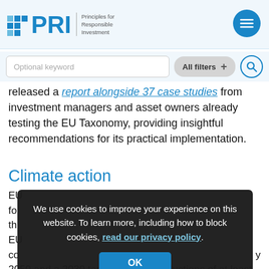PRI – Principles for Responsible Investment
released a report alongside 37 case studies from investment managers and asset owners already testing the EU Taxonomy, providing insightful recommendations for its practical implementation.
Climate action
EU... for... the... EU... co... 2050 and a 2030 target for GHG reductions of at least 55%. This aims to put climate action at the heart of the EU
We use cookies to improve your experience on this website. To learn more, including how to block cookies, read our privacy policy.